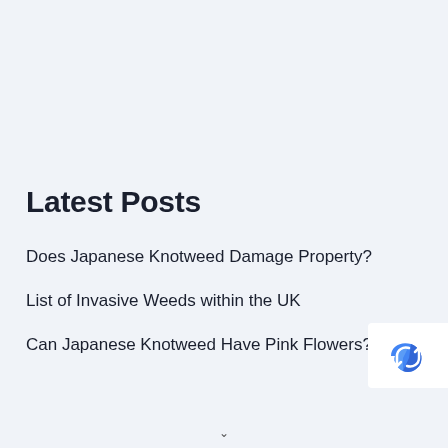Latest Posts
Does Japanese Knotweed Damage Property?
List of Invasive Weeds within the UK
Can Japanese Knotweed Have Pink Flowers?
[Figure (logo): reCAPTCHA logo widget in bottom right corner]